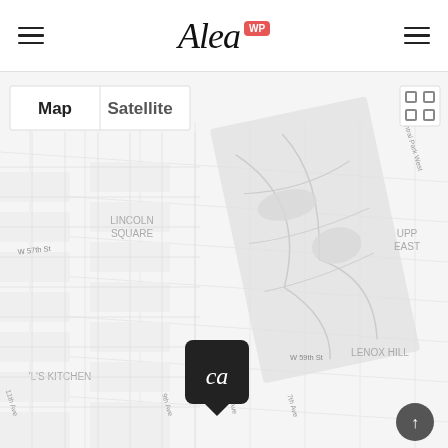Alea WP — navigation header with hamburger menus and logo
[Figure (map): Google Maps style street map of Manhattan, New York, showing Central Park, Lincoln Square, Upper East Side, Lenox Hill, Hell's Kitchen neighborhoods, with streets including W 57th St, W 59th St, E 65th St, E 66th St, E 62nd St, E 60th St, E 59th St, E 61st St, Madison Ave, Park Ave, 3rd Ave, Central Park West, 7th Ave, 8th Ave, 9th Ave, 11th Ave. Map/Satellite toggle buttons in top left. Fullscreen icon top right. Alea logo marker pin in center. Scroll-to-top button bottom right.]